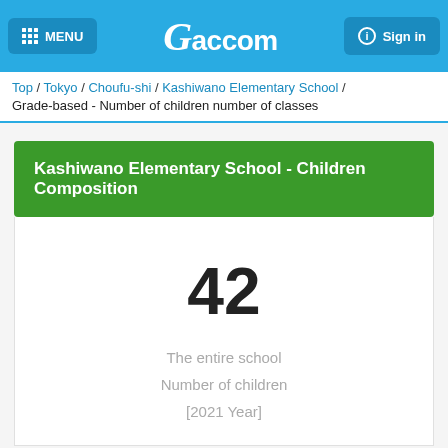MENU  Gaccom  Sign in
Top / Tokyo / Choufu-shi / Kashiwano Elementary School / Grade-based - Number of children number of classes
Kashiwano Elementary School - Children Composition
42
The entire school
Number of children
[2021 Year]